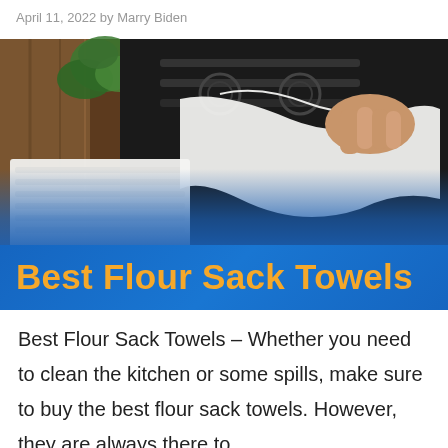April 11, 2022 by Marry Biden
[Figure (photo): A person handling white flour sack towels in a kitchen setting with a stove and green plant in the background. The image has a blue gradient banner overlay at the bottom.]
Best Flour Sack Towels
Best Flour Sack Towels – Whether you need to clean the kitchen or some spills, make sure to buy the best flour sack towels. However, they are always there to